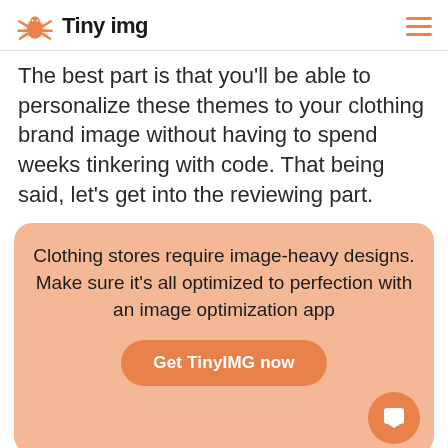Tiny img
The best part is that you'll be able to personalize these themes to your clothing brand image without having to spend weeks tinkering with code. That being said, let's get into the reviewing part.
Clothing stores require image-heavy designs. Make sure it's all optimized to perfection with an image optimization app
Get TinyIMG now